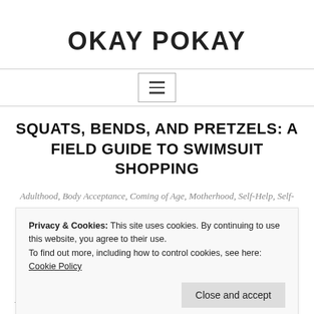OKAY POKAY
SQUATS, BENDS, AND PRETZELS: A FIELD GUIDE TO SWIMSUIT SHOPPING
Adulthood, Body Acceptance, Coming of Age, Motherhood, Self-Help, Self-Image, Uncategorized
Privacy & Cookies: This site uses cookies. By continuing to use this website, you agree to their use.
To find out more, including how to control cookies, see here: Cookie Policy
publications who ponder year after year.  What Lycra